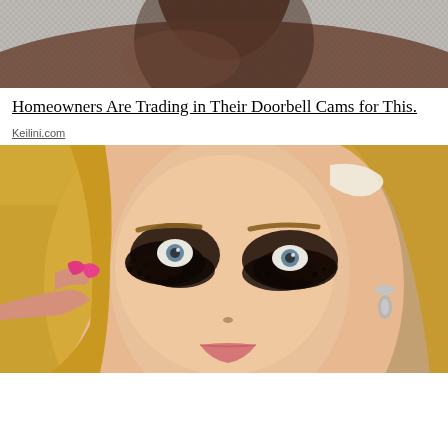[Figure (photo): Close-up photo of a neck/shoulder area against a gray woven textile background]
Homeowners Are Trading in Their Doorbell Cams for This.
Keilini.com
[Figure (photo): Close-up photo of a blonde woman with heavily smudged dark mascara around both eyes, wearing pink nail polish, touching her face near one eye. She has a surprised or wide-eyed expression, wearing a silver teardrop earring.]